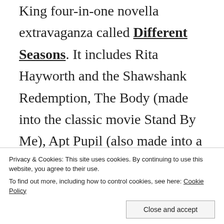King four-in-one novella extravaganza called Different Seasons. It includes Rita Hayworth and the Shawshank Redemption, The Body (made into the classic movie Stand By Me), Apt Pupil (also made into a movie) and Breathing Lessons. Novellas as a form somehow
Privacy & Cookies: This site uses cookies. By continuing to use this website, you agree to their use.
To find out more, including how to control cookies, see here: Cookie Policy
Now. What did I miss?